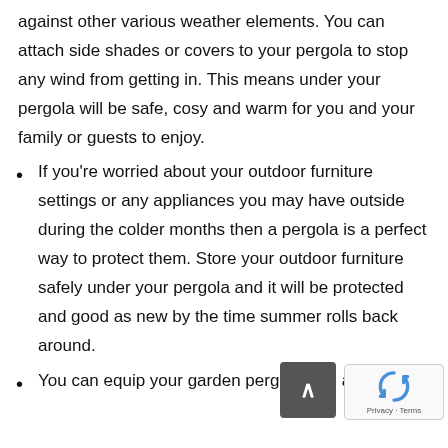against other various weather elements. You can attach side shades or covers to your pergola to stop any wind from getting in. This means under your pergola will be safe, cosy and warm for you and your family or guests to enjoy.
If you're worried about your outdoor furniture settings or any appliances you may have outside during the colder months then a pergola is a perfect way to protect them. Store your outdoor furniture safely under your pergola and it will be protected and good as new by the time summer rolls back around.
You can equip your garden pergola with a